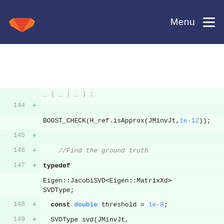GitLab Menu
Code diff view lines 144-152 showing C++ unit test code with Eigen SVD computations